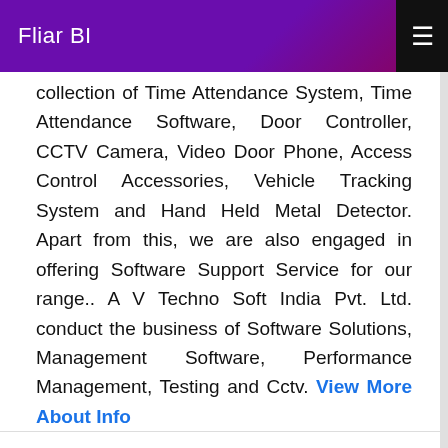Fliar BI
collection of Time Attendance System, Time Attendance Software, Door Controller, CCTV Camera, Video Door Phone, Access Control Accessories, Vehicle Tracking System and Hand Held Metal Detector. Apart from this, we are also engaged in offering Software Support Service for our range.. A V Techno Soft India Pvt. Ltd. conduct the business of Software Solutions, Management Software, Performance Management, Testing and Cctv. View More About Info
EXPERIENCE
YEARS
ADDRESS
Syndicate Exchange Pellet New Delhi Delhi 110016